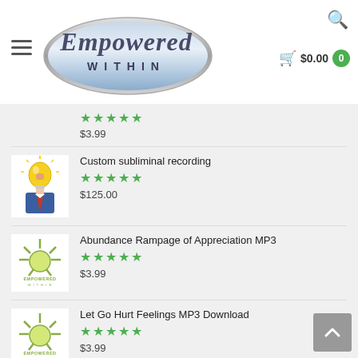[Figure (logo): Empowered Within script logo with oval silver/blue background, shopping cart showing $0.00 with green badge 0, hamburger menu icon, and search icon]
★★★★★ $3.99 (partial top item rating and price)
Custom subliminal recording ★★★★★ $125.00
Abundance Rampage of Appreciation MP3 ★★★★★ $3.99
Let Go Hurt Feelings MP3 Download ★★★★★ $3.99